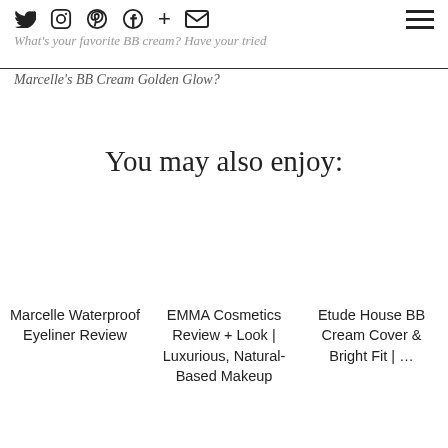Twitter Instagram Pinterest Facebook + Email [hamburger menu]
What's your favorite BB cream? Have your tried
Marcelle's BB Cream Golden Glow?
You may also enjoy:
Marcelle Waterproof Eyeliner Review
EMMA Cosmetics Review + Look | Luxurious, Natural-Based Makeup
Etude House BB Cream Cover & Bright Fit | …